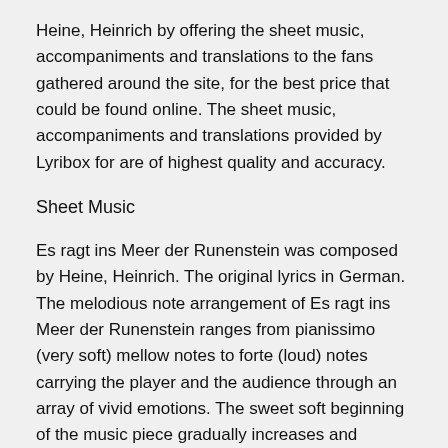Heine, Heinrich by offering the sheet music, accompaniments and translations to the fans gathered around the site, for the best price that could be found online. The sheet music, accompaniments and translations provided by Lyribox for are of highest quality and accuracy.
Sheet Music
Es ragt ins Meer der Runenstein was composed by Heine, Heinrich. The original lyrics in German. The melodious note arrangement of Es ragt ins Meer der Runenstein ranges from pianissimo (very soft) mellow notes to forte (loud) notes carrying the player and the audience through an array of vivid emotions. The sweet soft beginning of the music piece gradually increases and decreases the loudness in smooth transitions. This music piece is decorated with phrases, slurs and an arpeggio. A perfect composition for piano players to try with an intermediate knowledge in music. Students can make use of this sweet music piece to improve their knowledge in music expressions, ornaments and sight-reading, while all music lovers could enjoy this brilliant extract whole-heartedly. Es ragt ins Meer der Runenstein sheet music produced by Lyribox is